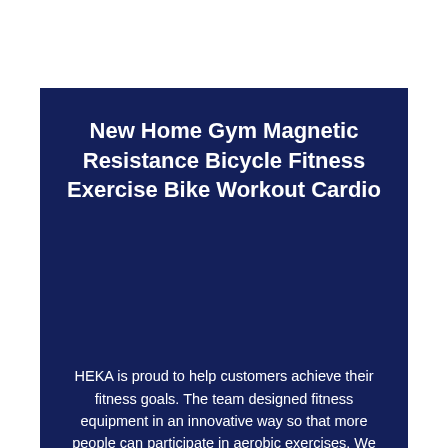New Home Gym Magnetic Resistance Bicycle Fitness Exercise Bike Workout Cardio
HEKA is proud to help customers achieve their fitness goals. The team designed fitness equipment in an innovative way so that more people can participate in aerobic exercises. We believe everyone should develop fitness habits. Whether you are outdoors or